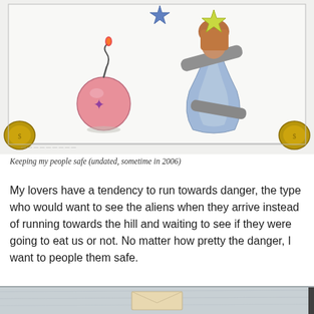[Figure (photo): A child's crayon/colored-pencil drawing photographed on a table. On the left, a round pink bomb with a lit red fuse and a purple star decoration on it. In the upper right, a figure (angel-like) with a blue robe/dress, brown hair, yellow-green star/halo above the head, and grey wing-like arms. Two gold coins are visible at the bottom-left and bottom-right corners of the photo.]
Keeping my people safe (undated, sometime in 2006)
My lovers have a tendency to run towards danger, the type who would want to see the aliens when they arrive instead of running towards the hill and waiting to see if they were going to eat us or not. No matter how pretty the danger, I want to people them safe.
[Figure (photo): Partial view of what appears to be a light blue/grey wooden surface with a small rectangular envelope or card in the center. A dark edge is visible on the right side.]